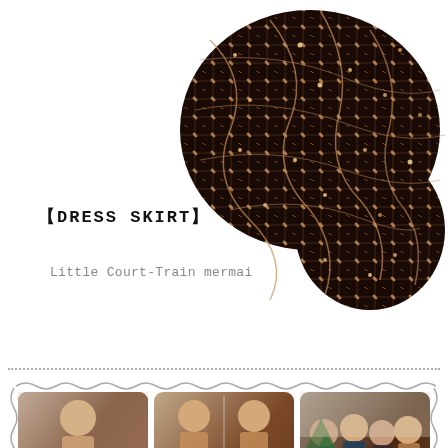[Figure (photo): Close-up of dark sequin/lace fabric with rose gold metallic pattern in diamond/wave design, draped and folded]
【DRESS SKIRT】
Little Court-Train mermai
[Figure (photo): Three customer review photos showing women wearing the sequin mermaid dress: left - solo mirror selfie full length, center - two views of woman in dress, right - group of four women at a party]
[Figure (photo): Partial bottom row of additional customer photos showing the dress]